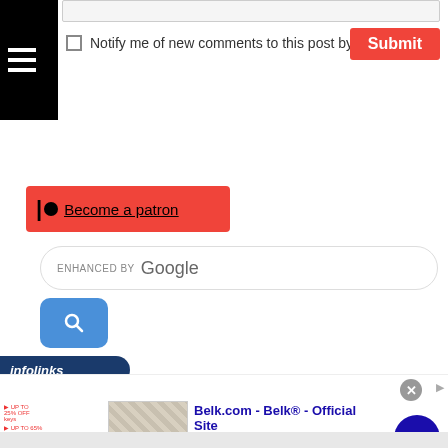[Figure (screenshot): Top input bar (text field, partially visible)]
Notify me of new comments to this post by email
[Figure (screenshot): Submit button (red background, white bold text)]
[Figure (screenshot): Patreon banner with circle icon and 'Become a patron' underlined link on red background]
[Figure (screenshot): Enhanced by Google search box with blue search button below]
[Figure (screenshot): infolinks dark blue bar with italic white text]
[Figure (screenshot): Belk.com advertisement strip: title 'Belk.com - Belk® - Official Site', description 'Shop for clothing, handbags, jewelry, beauty, home & more!', url 'www.belk.com', with thumbnail image and navigation arrow]